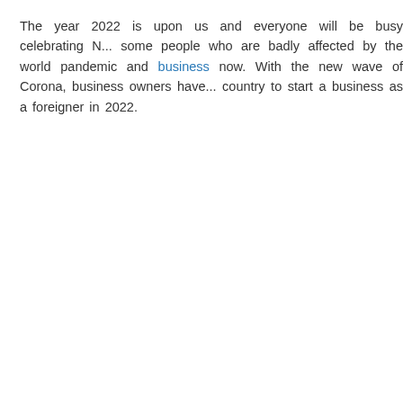The year 2022 is upon us and everyone will be busy celebrating N... some people who are badly affected by the world pandemic and... business now. With the new wave of Corona, business owners have... country to start a business as a foreigner in 2022.